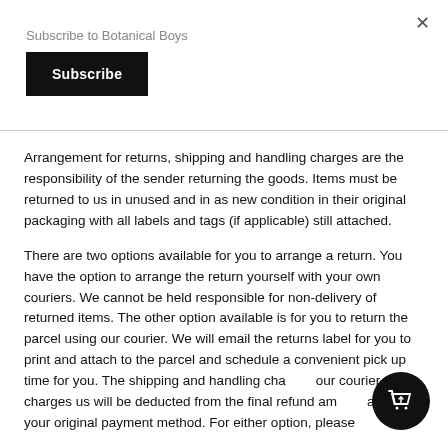Subscribe to Botanical Boys
Subscribe
Arrangement for returns, shipping and handling charges are the responsibility of the sender returning the goods. Items must be returned to us in unused and in as new condition in their original packaging with all labels and tags (if applicable) still attached.
There are two options available for you to arrange a return. You have the option to arrange the return yourself with your own couriers. We cannot be held responsible for non-delivery of returned items. The other option available is for you to return the parcel using our courier. We will email the returns label for you to print and attach to the parcel and schedule a convenient pick up time for you. The shipping and handling charges our courier charges us will be deducted from the final refund amount against your original payment method. For either option, please